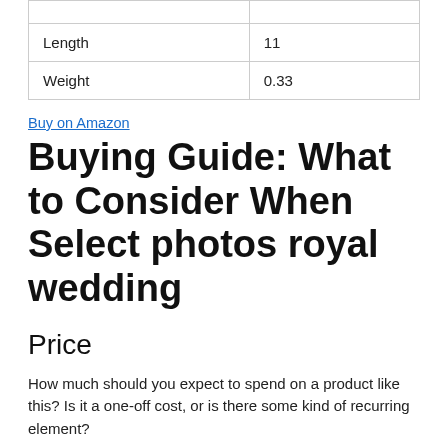|  |  |
| Length | 11 |
| Weight | 0.33 |
Buy on Amazon
Buying Guide: What to Consider When Select photos royal wedding
Price
How much should you expect to spend on a product like this? Is it a one-off cost, or is there some kind of recurring element?